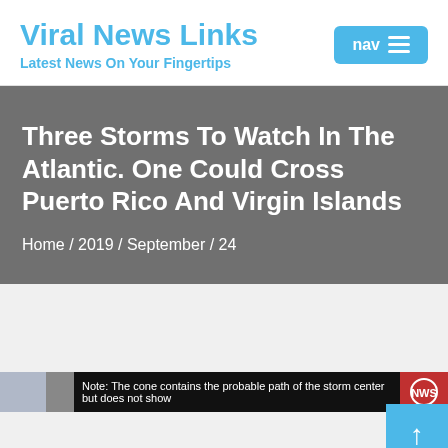Viral News Links
Latest News On Your Fingertips
Three Storms To Watch In The Atlantic. One Could Cross Puerto Rico And Virgin Islands
Home / 2019 / September / 24
[Figure (screenshot): Partial screenshot of a storm tracker map with text: Note: The cone contains the probable path of the storm center but does not show]